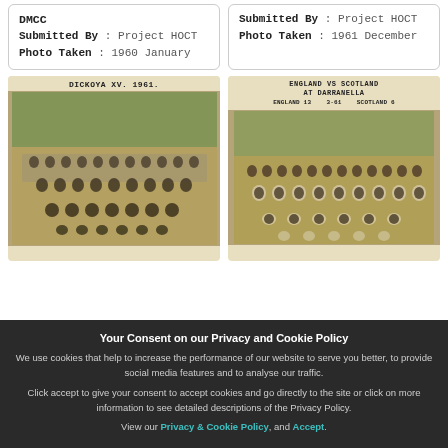DMCC
Submitted By : Project HOCT
Photo Taken : 1960 January
Submitted By : Project HOCT
Photo Taken : 1961 December
[Figure (photo): Black and white team photo captioned DICKOYA XV. 1961. showing a large group of rugby players posed outdoors.]
[Figure (photo): Sepia team photo captioned ENGLAND VS SCOTLAND AT DARRANELLA showing two teams of players posed outdoors.]
Your Consent on our Privacy and Cookie Policy
We use cookies that help to increase the performance of our website to serve you better, to provide social media features and to analyse our traffic.
Click accept to give your consent to accept cookies and go directly to the site or click on more information to see detailed descriptions of the Privacy Policy.
View our Privacy & Cookie Policy, and Accept.